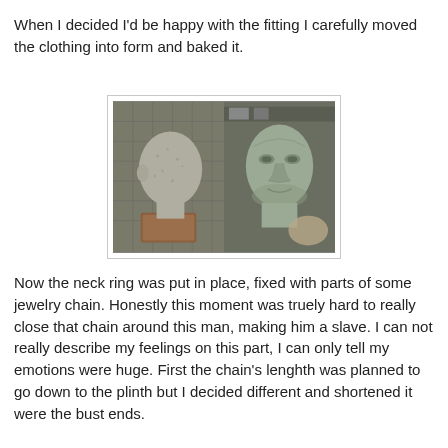When I decided I'd be happy with the fitting I carefully moved the clothing into form and baked it.
[Figure (photo): Two photographs of clay/polymer sculpted bust heads side by side. Left photo shows the back/side view of a textured grey clay head on a wooden base against a grid cutting mat. Right photo shows the front view of a grey sculpted male face with detailed features.]
Now the neck ring was put in place, fixed with parts of some jewelry chain. Honestly this moment was truely hard to really close that chain around this man, making him a slave. I can not really describe my feelings on this part, I can only tell my emotions were huge. First the chain's lenghth was planned to go down to the plinth but I decided different and shortened it were the bust ends.